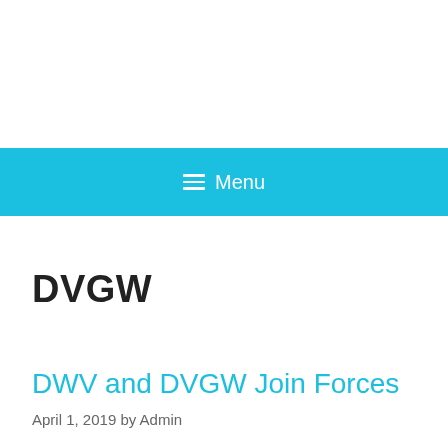Menu
DVGW
DWV and DVGW Join Forces
April 1, 2019 by Admin